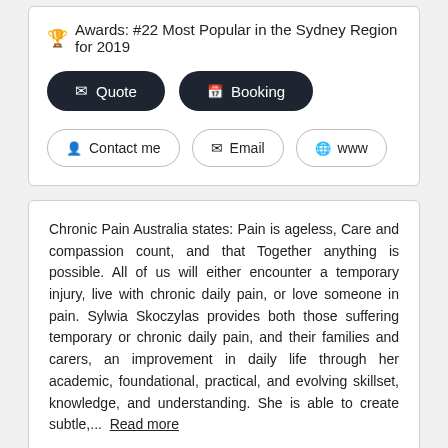🏆 Awards: #22 Most Popular in the Sydney Region for 2019
✉ Quote  📅 Booking
👤 Contact me  ✉ Email  🌐 www
Chronic Pain Australia states: Pain is ageless, Care and compassion count, and that Together anything is possible. All of us will either encounter a temporary injury, live with chronic daily pain, or love someone in pain. Sylwia Skoczylas provides both those suffering temporary or chronic daily pain, and their families and carers, an improvement in daily life through her academic, foundational, practical, and evolving skillset, knowledge, and understanding. She is able to create subtle,... Read more
Snap Fitness Burwood
Fitness Clubs and Centres
[Figure (photo): Group photo of Snap Fitness Burwood staff in black and red uniforms]